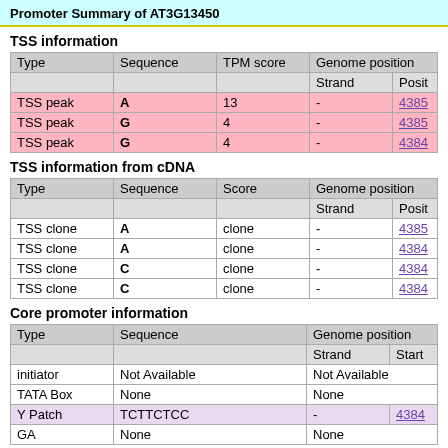Promoter Summary of AT3G13450
TSS information
| Type | Sequence | TPM score | Genome position |  |
| --- | --- | --- | --- | --- |
| TSS peak | A | 13 | - | 4385... |
| TSS peak | G | 4 | - | 4385... |
| TSS peak | G | 4 | - | 4384... |
TSS information from cDNA
| Type | Sequence | Score | Genome position |  |
| --- | --- | --- | --- | --- |
| TSS clone | A | clone | - | 4385... |
| TSS clone | A | clone | - | 4384... |
| TSS clone | C | clone | - | 4384... |
| TSS clone | C | clone | - | 4384... |
Core promoter information
| Type | Sequence | Genome position |  |
| --- | --- | --- | --- |
| initiator | Not Available | Not Available |  |
| TATA Box | None | None |  |
| Y Patch | TCTTCTCC | - | 4384... |
| GA | None | None |  |